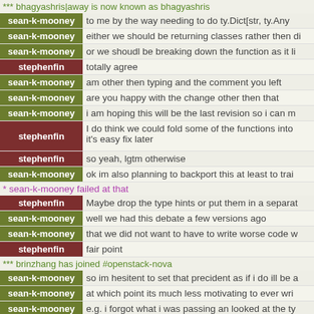*** bhagyashris|away is now known as bhagyashris
sean-k-mooney: to me by the way needing to do ty.Dict[str, ty.Any
sean-k-mooney: either we should be returning classes rather then di
sean-k-mooney: or we shoudl be breaking down the function as it li
stephenfin: totally agree
sean-k-mooney: am other then typing and the comment you left
sean-k-mooney: are you happy with the change other then that
sean-k-mooney: i am hoping this will be the last revision so i can m
stephenfin: I do think we could fold some of the functions into it's easy fix later
stephenfin: so yeah, lgtm otherwise
sean-k-mooney: ok im also planning to backport this at least to trai
* sean-k-mooney failed at that
stephenfin: Maybe drop the type hints or put them in a separat
sean-k-mooney: well we had this debate a few versions ago
sean-k-mooney: that we did not want to have to write worse code w
stephenfin: fair point
*** brinzhang has joined #openstack-nova
sean-k-mooney: so im hesitent to set that precident as if i do ill be a
sean-k-mooney: at which point its much less motivating to ever wri
sean-k-mooney: e.g. i forgot what i was passing an looked at the ty